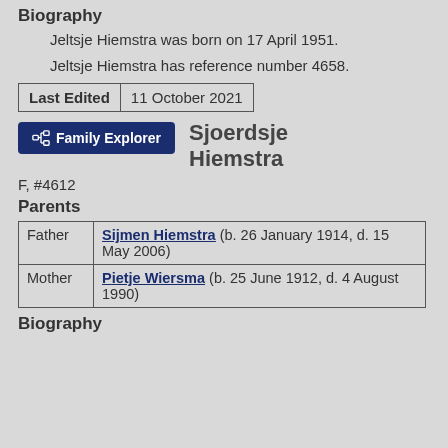Biography
Jeltsje Hiemstra was born on 17 April 1951.
Jeltsje Hiemstra has reference number 4658.
| Last Edited | 11 October 2021 |
| --- | --- |
[Figure (other): Family Explorer button icon]
Sjoerdsje Hiemstra
F, #4612
Parents
|  |  |
| --- | --- |
| Father | Sijmen Hiemstra (b. 26 January 1914, d. 15 May 2006) |
| Mother | Pietje Wiersma (b. 25 June 1912, d. 4 August 1990) |
Biography